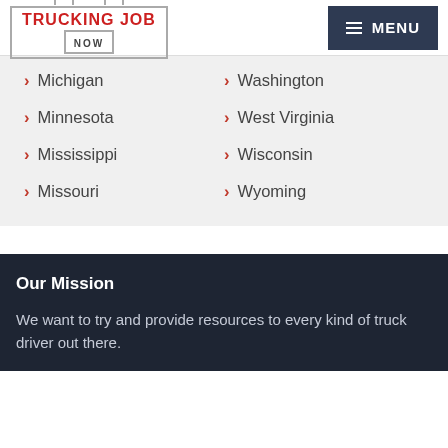TRUCKING JOB NOW | MENU
Michigan
Washington
Minnesota
West Virginia
Mississippi
Wisconsin
Missouri
Wyoming
Our Mission
We want to try and provide resources to every kind of truck driver out there.